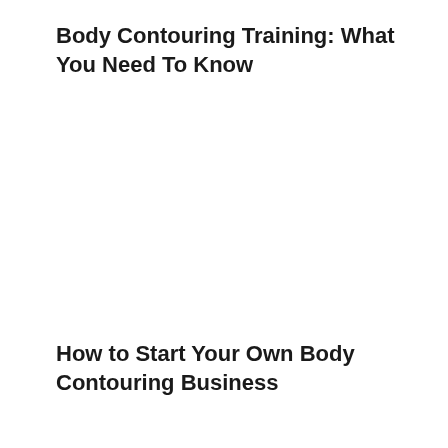Body Contouring Training: What You Need To Know
How to Start Your Own Body Contouring Business